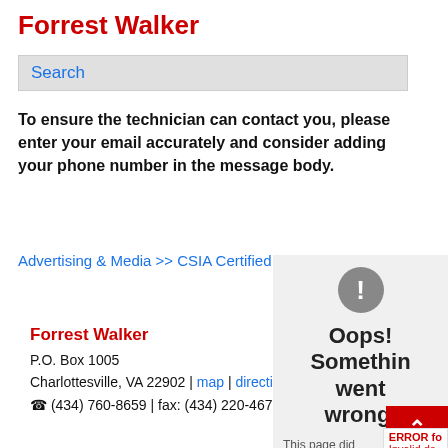Forrest Walker
[Figure (screenshot): Search bar with placeholder text 'Search']
To ensure the technician can contact you, please enter your email accurately and consider adding your phone number in the message body.
Advertising & Media >> CSIA Certified >> Virginia
Forrest Walker
P.O. Box 1005
Charlottesville, VA 22902 | map | directions
☎ (434) 760-8659 | fax: (434) 220-4676
[Figure (screenshot): Error overlay showing exclamation icon, 'Oops! Something went wrong.' message, and partial text 'This page did not load Google'. Red button with up arrow. Red error label 'ERROR for Invalid do...']